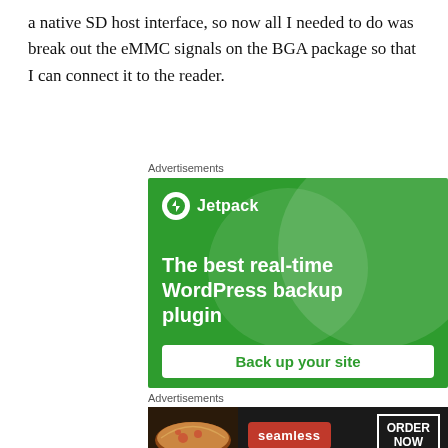a native SD host interface, so now all I needed to do was break out the eMMC signals on the BGA package so that I can connect it to the reader.
Advertisements
[Figure (illustration): Jetpack WordPress backup plugin advertisement. Green background with circle decorations, Jetpack logo with lightning bolt icon, headline 'The best real-time WordPress backup plugin', and 'Back up your site' button.]
Advertisements
[Figure (illustration): Seamless food delivery advertisement. Dark background with pizza image on left, red 'seamless' badge in center, and 'ORDER NOW' button with white border on right.]